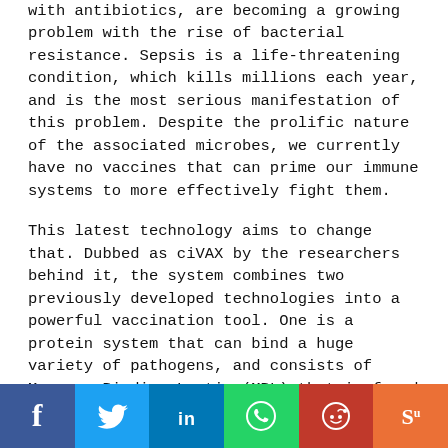with antibiotics, are becoming a growing problem with the rise of bacterial resistance. Sepsis is a life-threatening condition, which kills millions each year, and is the most serious manifestation of this problem. Despite the prolific nature of the associated microbes, we currently have no vaccines that can prime our immune systems to more effectively fight them.
This latest technology aims to change that. Dubbed as ciVAX by the researchers behind it, the system combines two previously developed technologies into a powerful vaccination tool. One is a protein system that can bind a huge variety of pathogens, and consists of Mannose Binding Lectin (MBL) that is fused with a portion of an antibody. The second is a scaffold bio material made from a special silicon...
[Figure (infographic): Social media share bar with Facebook, Twitter, LinkedIn, WhatsApp, Reddit, and StumbleUpon buttons]